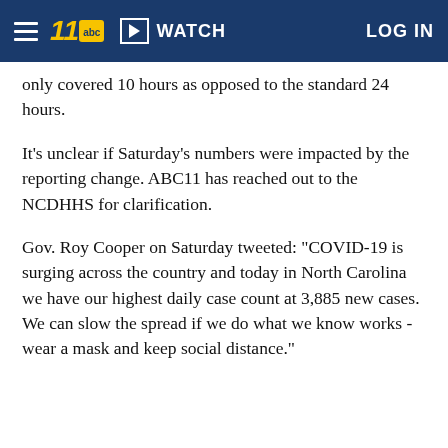WATCH  LOG IN
only covered 10 hours as opposed to the standard 24 hours.
It's unclear if Saturday's numbers were impacted by the reporting change. ABC11 has reached out to the NCDHHS for clarification.
Gov. Roy Cooper on Saturday tweeted: "COVID-19 is surging across the country and today in North Carolina we have our highest daily case count at 3,885 new cases. We can slow the spread if we do what we know works - wear a mask and keep social distance."